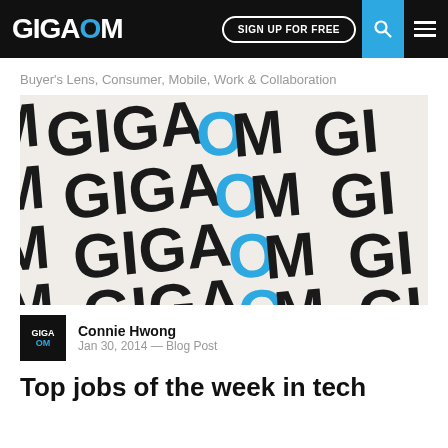GIGAOM | SIGN UP FOR FREE
Buyer's Lens, Consumer, Mobile, Work & Collaboration
[Figure (photo): Repeating GIGAOM logo pattern on a light beige background, with the letter O in blue and rest of text in dark/black, arranged in a diagonal tiled pattern.]
Connie Hwong
Jan 30, 2014 — Blog Post
Top jobs of the week in tech